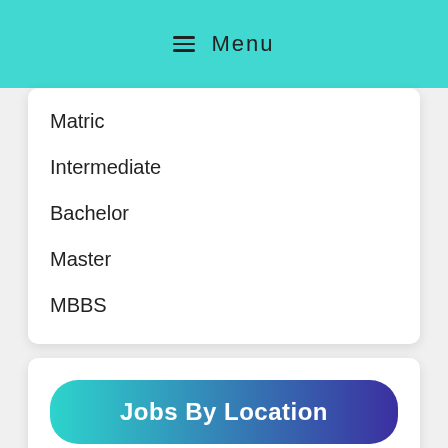Menu
Matric
Intermediate
Bachelor
Master
MBBS
Jobs By Location
Islamabad
Lahore